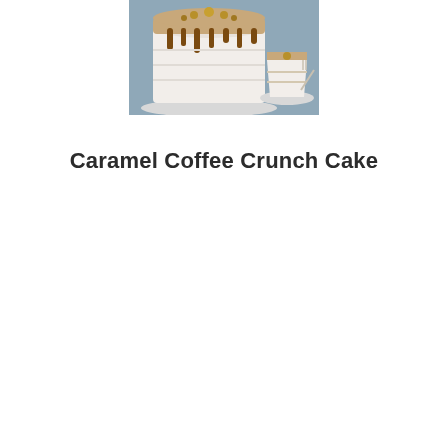[Figure (photo): A white layered cake with caramel drip topping and a slice cut out on a plate, set on a blue background. The cake has caramel sauce dripping down the sides and appears to be a caramel coffee crunch cake.]
Caramel Coffee Crunch Cake